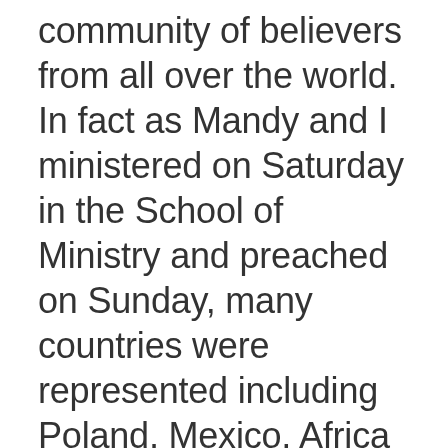community of believers from all over the world. In fact as Mandy and I ministered on Saturday in the School of Ministry and preached on Sunday, many countries were represented including Poland, Mexico, Africa and the Philippians. God is truly doing a great work at WOCC.
This trip for Mandy and I was one for the books and we want to thank you, our partners and friends, for the support and